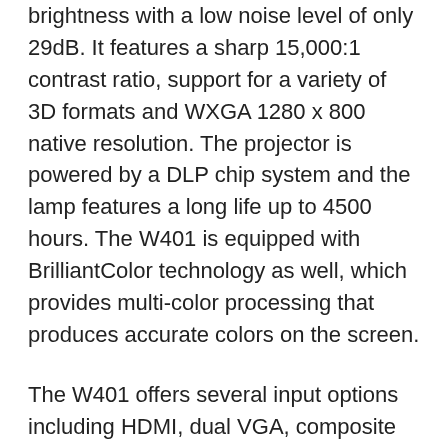brightness with a low noise level of only 29dB. It features a sharp 15,000:1 contrast ratio, support for a variety of 3D formats and WXGA 1280 x 800 native resolution. The projector is powered by a DLP chip system and the lamp features a long life up to 4500 hours. The W401 is equipped with BrilliantColor technology as well, which provides multi-color processing that produces accurate colors on the screen.
The W401 offers several input options including HDMI, dual VGA, composite video and more. Plus, it supports Crestron and AMX multi-projector LAN connectivity over a single network thanks to its RJ-45 Ethernet jack. The W401 can project up to a 362″ diagonal image and it offers a complete on-screen menu that supports adjustments in 27 languages. Other features